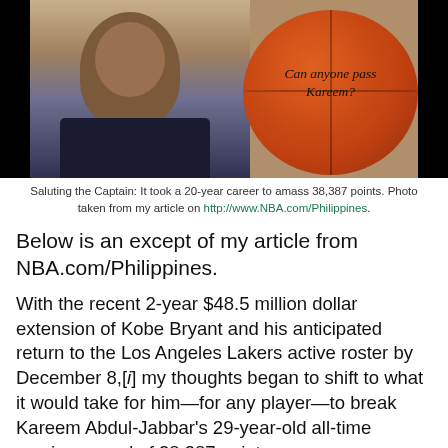[Figure (photo): Photo of a tall bald man (Kareem Abdul-Jabbar) with a basketball in the background. Text on basketball reads 'Can anyone pass Kareem?']
Saluting the Captain: It took a 20-year career to amass 38,387 points. Photo taken from my article on http://www.NBA.com/Philippines.
Below is an except of my article from NBA.com/Philippines.
With the recent 2-year $48.5 million dollar extension of Kobe Bryant and his anticipated return to the Los Angeles Lakers active roster by December 8,[i] my thoughts began to shift to what it would take for him—for any player—to break Kareem Abdul-Jabbar's 29-year-old all-time scoring record of 38,387 points.
Because to...